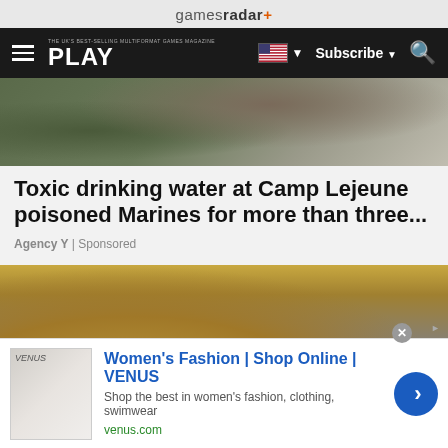gamesradar+
[Figure (screenshot): Navigation bar with hamburger menu, PLAY logo, US flag, Subscribe button, and search icon on dark background]
[Figure (photo): Top portion of article hero image showing military/outdoor scene with rocks and terrain]
Toxic drinking water at Camp Lejeune poisoned Marines for more than three...
Agency Y | Sponsored
[Figure (photo): Woman with long blonde hair next to medical/beauty equipment with circular display screen, in a room with yellow and white walls]
[Figure (screenshot): Advertisement banner: Women's Fashion | Shop Online | VENUS - Shop the best in women's fashion, clothing, swimwear - venus.com]